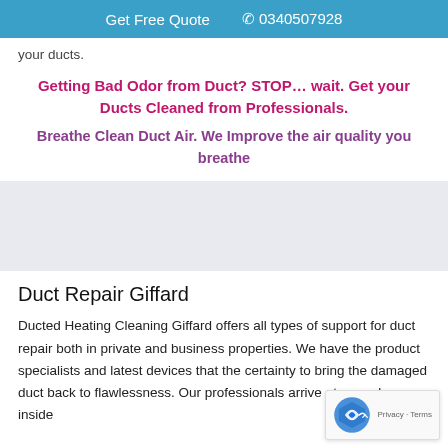Get Free Quote  0340507928
your ducts.
Getting Bad Odor from Duct? STOP… wait. Get your Ducts Cleaned from Professionals.
Breathe Clean Duct Air. We Improve the air quality you breathe
Duct Repair Giffard
Ducted Heating Cleaning Giffard offers all types of support for duct repair both in private and business properties. We have the product specialists and latest devices that the certainty to bring the damaged duct back to flawlessness. Our professionals arrive at your place inside